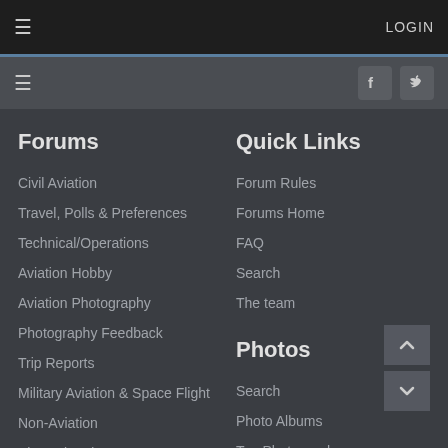LOGIN
Forums
Civil Aviation
Travel, Polls & Preferences
Technical/Operations
Aviation Hobby
Aviation Photography
Photography Feedback
Trip Reports
Military Aviation & Space Flight
Non-Aviation
Site Related
Quick Links
Forum Rules
Forums Home
FAQ
Search
The team
Photos
Search
Photo Albums
Top Photographers
Upload